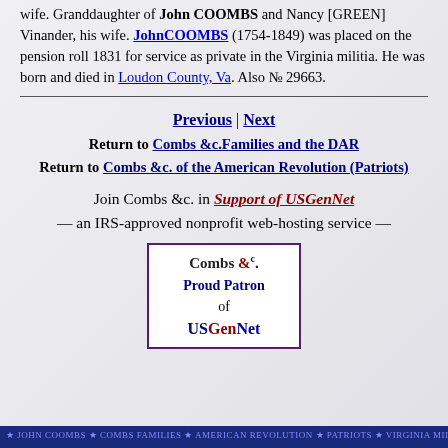wife. Granddaughter of John COOMBS and Nancy [GREEN] Vinander, his wife. JohnCOOMBS (1754-1849) was placed on the pension roll 1831 for service as private in the Virginia militia. He was born and died in Loudon County, Va. Also № 29663.
Previous | Next
Return to Combs &c.Families and the DAR
Return to Combs &c. of the American Revolution (Patriots)
Join Combs &c. in Support of USGenNet — an IRS-approved nonprofit web-hosting service —
[Figure (logo): Combs &c. Proud Patron of USGenNet badge with purple border]
footer bar with decorative text